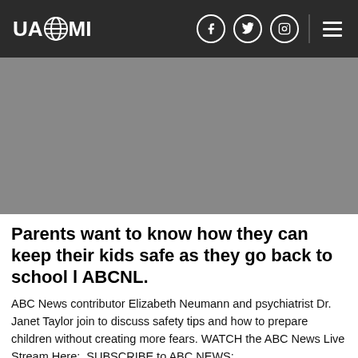UAZMI
[Figure (photo): Gray placeholder image for a video thumbnail related to back-to-school safety]
Parents want to know how they can keep their kids safe as they go back to school l ABCNL.
ABC News contributor Elizabeth Neumann and psychiatrist Dr. Janet Taylor join to discuss safety tips and how to prepare children without creating more fears. WATCH the ABC News Live Stream Here:  SUBSCRIBE to ABC NEWS: